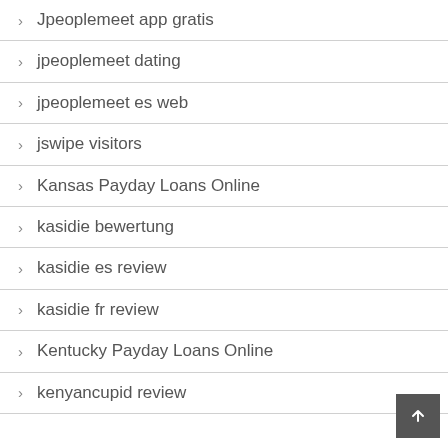Jpeoplemeet app gratis
jpeoplemeet dating
jpeoplemeet es web
jswipe visitors
Kansas Payday Loans Online
kasidie bewertung
kasidie es review
kasidie fr review
Kentucky Payday Loans Online
kenyancupid review